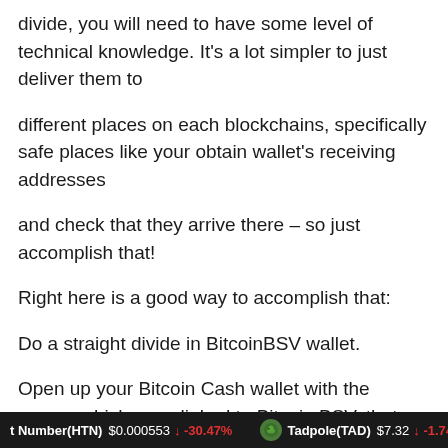divide, you will need to have some level of technical knowledge. It's a lot simpler to just deliver them to
different places on each blockchains, specifically safe places like your obtain wallet's receiving addresses
and check that they arrive there – so just accomplish that!
Right here is a good way to accomplish that:
Do a straight divide in BitcoinBSV wallet.
Open up your Bitcoin Cash wallet with the money which were linked to Bitcoin BSV, that you just split
t Number(HTN) $0.000553 ↓ -30.47%    Tadpole(TAD) $7.32 ↓ -1.74